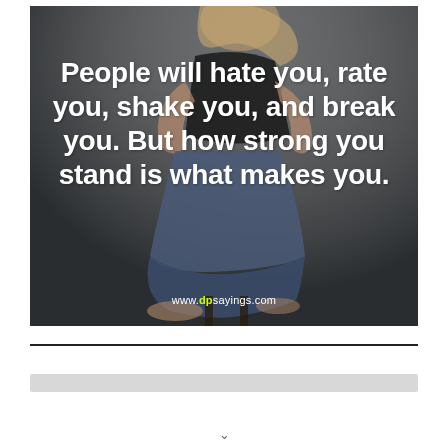[Figure (photo): A person (woman with blonde hair) sitting cross-legged on a stool against a gray background, wearing a black top and jeans. Overlaid with inspirational quote text and website watermark.]
www.dpsayings.com